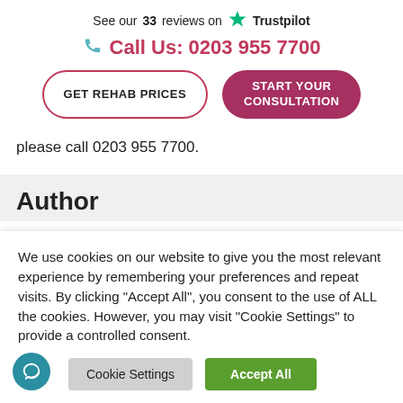See our 33 reviews on ★ Trustpilot
Call Us: 0203 955 7700
GET REHAB PRICES
START YOUR CONSULTATION
please call 0203 955 7700.
Author
We use cookies on our website to give you the most relevant experience by remembering your preferences and repeat visits. By clicking "Accept All", you consent to the use of ALL the cookies. However, you may visit "Cookie Settings" to provide a controlled consent.
Cookie Settings
Accept All